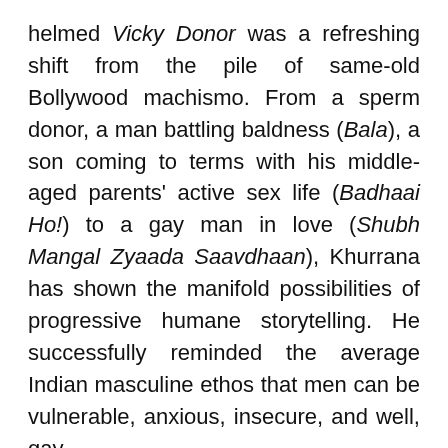helmed Vicky Donor was a refreshing shift from the pile of same-old Bollywood machismo. From a sperm donor, a man battling baldness (Bala), a son coming to terms with his middle-aged parents' active sex life (Badhaai Ho!) to a gay man in love (Shubh Mangal Zyaada Saavdhaan), Khurrana has shown the manifold possibilities of progressive humane storytelling. He successfully reminded the average Indian masculine ethos that men can be vulnerable, anxious, insecure, and well, gay.
And now, he is back with Chandigarh Kare Aashiqui. Here, he plays a fitness provider who falls in love with a Zumba instructor (played by actor Vaani Kapoor). But that's not all. Kapoor plays a transgender woman and Khurrana a typical heterosexual, cisgender Punjabi man. What follows...